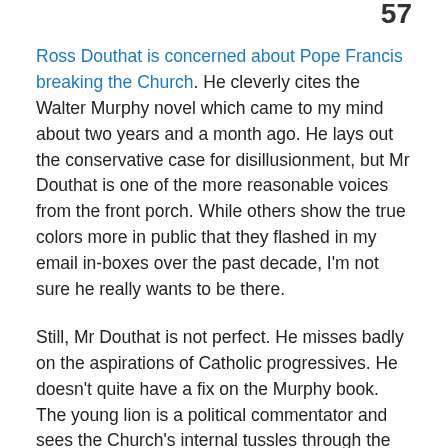57
Ross Douthat is concerned about Pope Francis breaking the Church. He cleverly cites the Walter Murphy novel which came to my mind about two years and a month ago. He lays out the conservative case for disillusionment, but Mr Douthat is one of the more reasonable voices from the front porch. While others show the true colors more in public that they flashed in my email in-boxes over the past decade, I'm not sure he really wants to be there.
Still, Mr Douthat is not perfect. He misses badly on the aspirations of Catholic progressives. He doesn't quite have a fix on the Murphy book. The young lion is a political commentator and sees the Church's internal tussles through the lens of an American conservative. That's not necessarily bad. But it's like trying to view a situation with one's right lung. Sure, you can breathe. But where's the